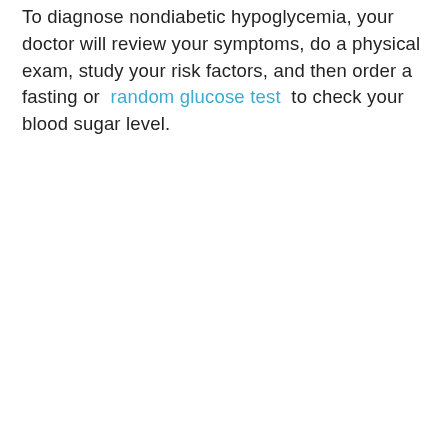To diagnose nondiabetic hypoglycemia, your doctor will review your symptoms, do a physical exam, study your risk factors, and then order a fasting or random glucose test to check your blood sugar level.